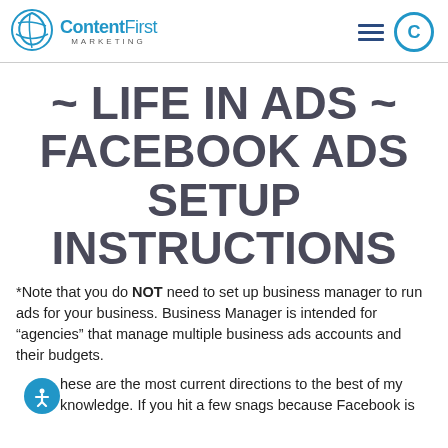ContentFirst MARKETING
~ LIFE IN ADS ~ FACEBOOK ADS SETUP INSTRUCTIONS
*Note that you do NOT need to set up business manager to run ads for your business. Business Manager is intended for “agencies” that manage multiple business ads accounts and their budgets.
hese are the most current directions to the best of my knowledge. If you hit a few snags because Facebook is